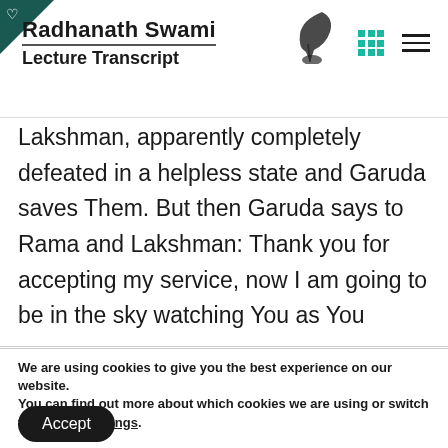Radhanath Swami Lecture Transcript
Lakshman, apparently completely defeated in a helpless state and Garuda saves Them. But then Garuda says to Rama and Lakshman: Thank you for accepting my service, now I am going to be in the sky watching You as You
We are using cookies to give you the best experience on our website.
You can find out more about which cookies we are using or switch them off in settings.
Accept